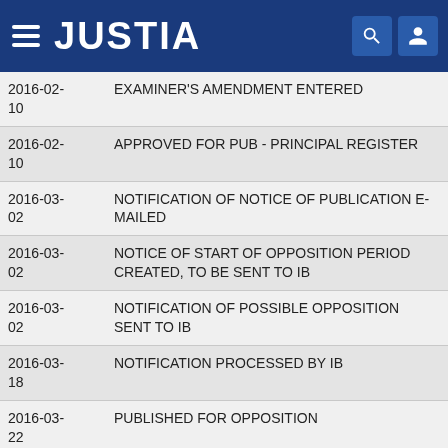JUSTIA
| Date | Event |
| --- | --- |
| 2016-02-10 | EXAMINER'S AMENDMENT ENTERED |
| 2016-02-10 | APPROVED FOR PUB - PRINCIPAL REGISTER |
| 2016-03-02 | NOTIFICATION OF NOTICE OF PUBLICATION E-MAILED |
| 2016-03-02 | NOTICE OF START OF OPPOSITION PERIOD CREATED, TO BE SENT TO IB |
| 2016-03-02 | NOTIFICATION OF POSSIBLE OPPOSITION SENT TO IB |
| 2016-03-18 | NOTIFICATION PROCESSED BY IB |
| 2016-03-22 | PUBLISHED FOR OPPOSITION |